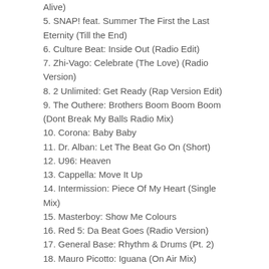Alive)
5. SNAP! feat. Summer The First the Last Eternity (Till the End)
6. Culture Beat: Inside Out (Radio Edit)
7. Zhi-Vago: Celebrate (The Love) (Radio Version)
8. 2 Unlimited: Get Ready (Rap Version Edit)
9. The Outhere: Brothers Boom Boom Boom (Dont Break My Balls Radio Mix)
10. Corona: Baby Baby
11. Dr. Alban: Let The Beat Go On (Short)
12. U96: Heaven
13. Cappella: Move It Up
14. Intermission: Piece Of My Heart (Single Mix)
15. Masterboy: Show Me Colours
16. Red 5: Da Beat Goes (Radio Version)
17. General Base: Rhythm & Drums (Pt. 2)
18. Mauro Picotto: Iguana (On Air Mix)
19. Brooklyn Bounce: The Real Bass
20. DJ Jean: The Launch (Radio Edit)
21. Hypetraxx: The Darkside
22. 20 Fingers feat. Gillette: Short Dick Man (Short